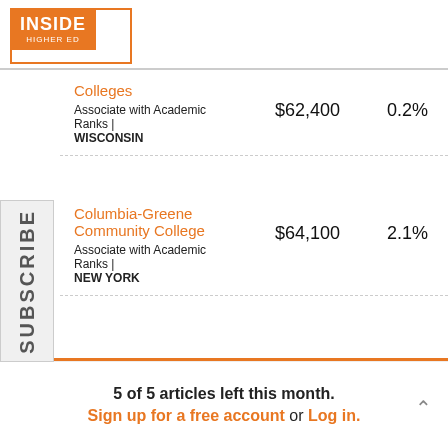[Figure (logo): Inside Higher Ed logo with orange box and green corner outline]
Colleges
Associate with Academic Ranks | WISCONSIN
$62,400
0.2%
Columbia-Greene Community College
Associate with Academic Ranks | NEW YORK
$64,100
2.1%
ottey College
ssociate with Academic Ranks | SSOURI
$65,000
3.3%
Corning Community
5 of 5 articles left this month.
Sign up for a free account or Log in.